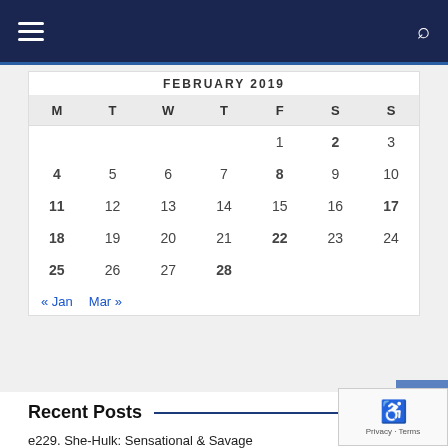Navigation bar with hamburger menu and search icon
FEBRUARY 2019
| M | T | W | T | F | S | S |
| --- | --- | --- | --- | --- | --- | --- |
|  |  |  |  | 1 | 2 | 3 |
| 4 | 5 | 6 | 7 | 8 | 9 | 10 |
| 11 | 12 | 13 | 14 | 15 | 16 | 17 |
| 18 | 19 | 20 | 21 | 22 | 23 | 24 |
| 25 | 26 | 27 | 28 |  |  |  |
« Jan   Mar »
Recent Posts
e229. She-Hulk: Sensational & Savage